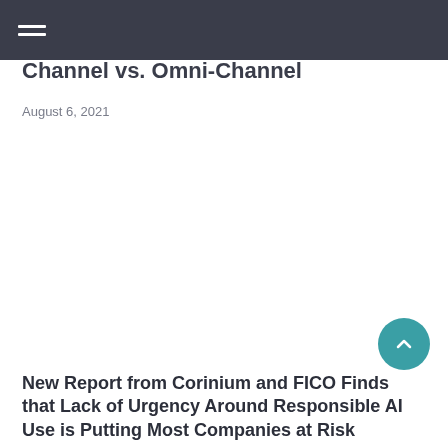Channel vs. Omni-Channel
August 6, 2021
New Report from Corinium and FICO Finds that Lack of Urgency Around Responsible AI Use is Putting Most Companies at Risk